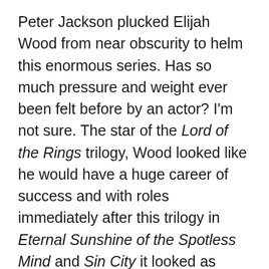Peter Jackson plucked Elijah Wood from near obscurity to helm this enormous series. Has so much pressure and weight ever been felt before by an actor? I'm not sure. The star of the Lord of the Rings trilogy, Wood looked like he would have a huge career of success and with roles immediately after this trilogy in Eternal Sunshine of the Spotless Mind and Sin City it looked as though a career at the highest level was attainable for the young actor. However, recent years have seen the majority of Wood's work come in voicing video games and going to television series. Although, this move to television cannot be complained about as he stars in the hilarious series Wilfred. You can't help but feel like he could have had it so different though. Wood has done voice work in films such as 9 and Happy Feet but nothing that big or that successful has come his way in the floods that he may